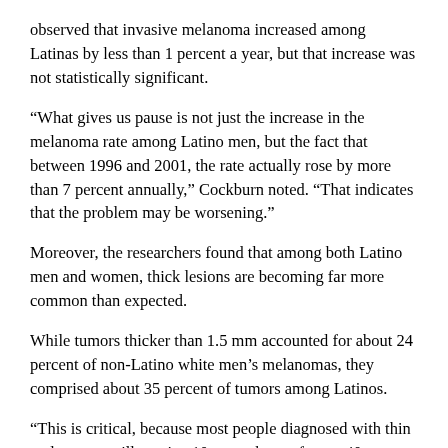observed that invasive melanoma increased among Latinas by less than 1 percent a year, but that increase was not statistically significant.
“What gives us pause is not just the increase in the melanoma rate among Latino men, but the fact that between 1996 and 2001, the rate actually rose by more than 7 percent annually,” Cockburn noted. “That indicates that the problem may be worsening.”
Moreover, the researchers found that among both Latino men and women, thick lesions are becoming far more common than expected.
While tumors thicker than 1.5 mm accounted for about 24 percent of non-Latino white men’s melanomas, they comprised about 35 percent of tumors among Latinos.
“This is critical, because most people diagnosed with thin melanomas will survive 10 years, but as few as 40 percent of people with thick melanomas (more than 4 mm wide) will survive 10 years,” he said. “The best way to improve melanoma